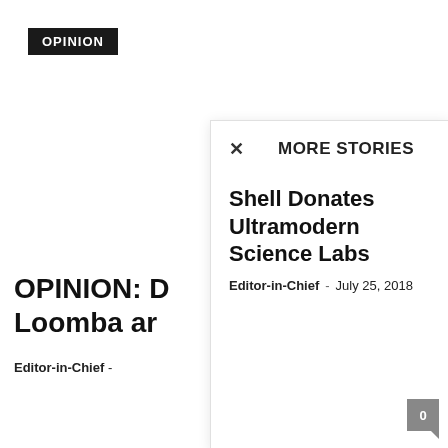OPINION
OPINION: D... Loomba ar...
Editor-in-Chief -
MORE STORIES
Shell Donates Ultramodern Science Labs
Editor-in-Chief  -  July 25, 2018